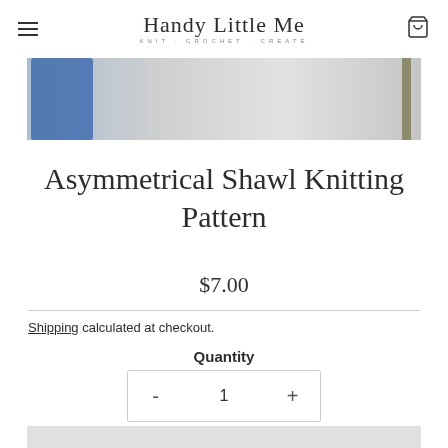Handy Little Me — KNIT · CROCHET · CREATE
[Figure (photo): Close-up photo of knitted shawl fabric in grey/white with blue and olive yarn accents]
Asymmetrical Shawl Knitting Pattern
$7.00
Shipping calculated at checkout.
Quantity
- 1 +